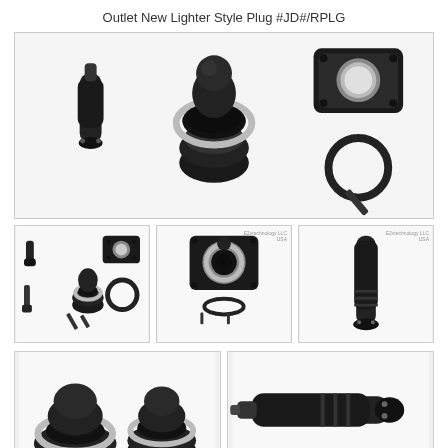Outlet New Lighter Style Plug #JD#/RPLG
[Figure (photo): Large product photo showing disassembled lighter-style outlet components: plug, socket with silver ring, mounting plate (rectangular black with screw holes), rubber o-ring, and screws on white background]
[Figure (photo): Small product photo showing disassembled components: plug, socket, rubber o-ring, and screws]
[Figure (photo): Product photo of assembled lighter socket mounted on rectangular black panel with o-ring and screws shown below; E2vtechnology LLC USA watermark]
[Figure (photo): Product photo of the plug/cigarette lighter adapter alone on white background; E2vtechnology LLC USA watermark]
[Figure (photo): Product photo showing two assembled socket cups side by side with silver rings; E2vtechnology LLC USA watermark]
[Figure (photo): Product photo of the plug/cigarette lighter adapter; E2vtechnology LLC USA watermark]